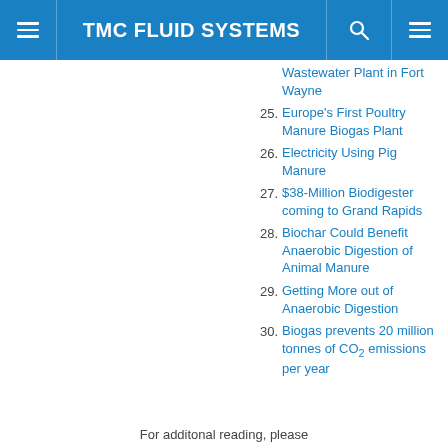TMC FLUID SYSTEMS
Wastewater Plant in Fort Wayne
25. Europe's First Poultry Manure Biogas Plant
26. Electricity Using Pig Manure
27. $38-Million Biodigester coming to Grand Rapids
28. Biochar Could Benefit Anaerobic Digestion of Animal Manure
29. Getting More out of Anaerobic Digestion
30. Biogas prevents 20 million tonnes of CO2 emissions per year
For additonal reading, please